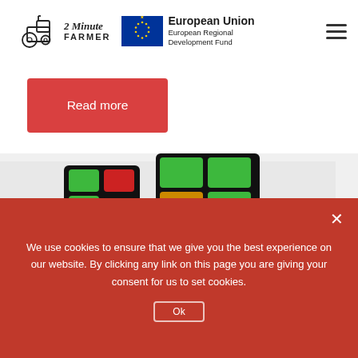2 Minute Farmer — European Union European Regional Development Fund
Read more
[Figure (photo): Close-up photograph of a Rubik's cube showing green, red, blue, and orange colored tiles against a white background]
We use cookies to ensure that we give you the best experience on our website. By clicking any link on this page you are giving your consent for us to set cookies.